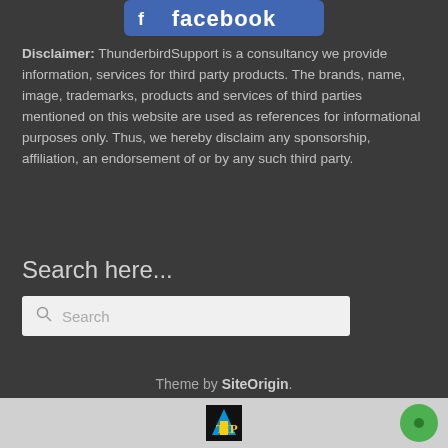[Figure (logo): Facebook logo banner at top]
Disclaimer: ThunderbirdSupport is a consultancy we provide information, services for third party products. The brands, name, image, trademarks, products and services of third parties mentioned on this website are used as references for informational purposes only. Thus, we hereby disclaim any sponsorship, affiliation, an endorsement of or by any such third party.
Search here...
Search
Theme by SiteOrigin.